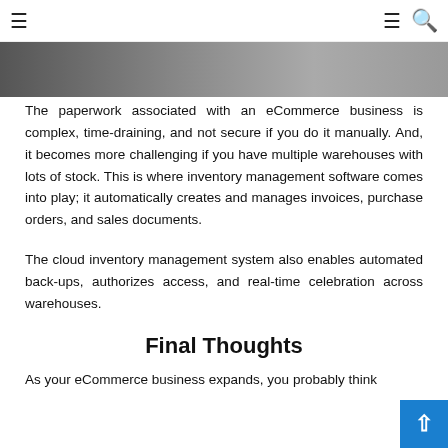≡  ≡ 🔍
[Figure (photo): Partial image strip showing a blurred/grayscale warehouse or industrial scene]
The paperwork associated with an eCommerce business is complex, time-draining, and not secure if you do it manually. And, it becomes more challenging if you have multiple warehouses with lots of stock. This is where inventory management software comes into play; it automatically creates and manages invoices, purchase orders, and sales documents.
The cloud inventory management system also enables automated back-ups, authorizes access, and real-time celebration across warehouses.
Final Thoughts
As your eCommerce business expands, you probably think